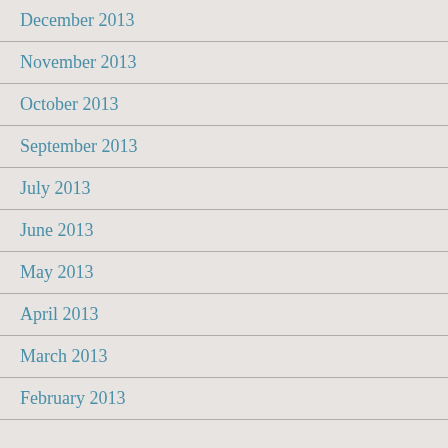December 2013
November 2013
October 2013
September 2013
July 2013
June 2013
May 2013
April 2013
March 2013
February 2013